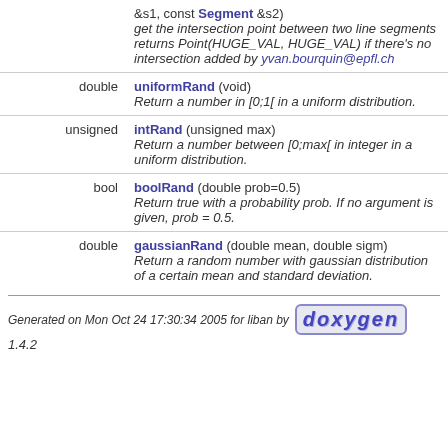| type | function/description |
| --- | --- |
|  | &s1, const Segment &s2) get the intersection point between two line segments returns Point(HUGE_VAL, HUGE_VAL) if there's no intersection added by yvan.bourquin@epfl.ch |
| double | uniformRand (void) Return a number in [0;1[ in a uniform distribution. |
| unsigned | intRand (unsigned max) Return a number between [0;max[ in integer in a uniform distribution. |
| bool | boolRand (double prob=0.5) Return true with a probability prob. If no argument is given, prob = 0.5. |
| double | gaussianRand (double mean, double sigm) Return a random number with gaussian distribution of a certain mean and standard deviation. |
Generated on Mon Oct 24 17:30:34 2005 for liban by doxygen 1.4.2